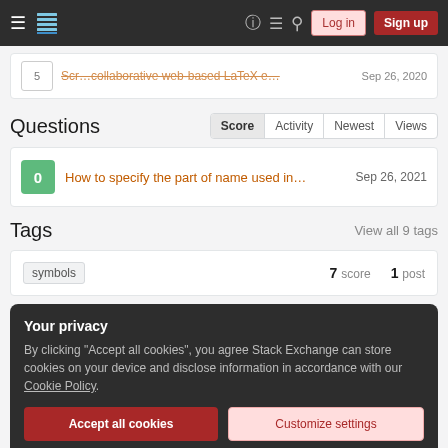Stack Exchange navigation bar with hamburger menu, logo, help, chat, search, Log in, Sign up
Scr... Scr... Scr... collaborative web-based LaTeX... Sep 26, 2020
Questions
Sort tabs: Score | Activity | Newest | Views
0  How to specify the part of name used in...  Sep 26, 2021
Tags
View all 9 tags
symbols  7 score  1 post
Your privacy
By clicking "Accept all cookies", you agree Stack Exchange can store cookies on your device and disclose information in accordance with our Cookie Policy.
Accept all cookies  |  Customize settings